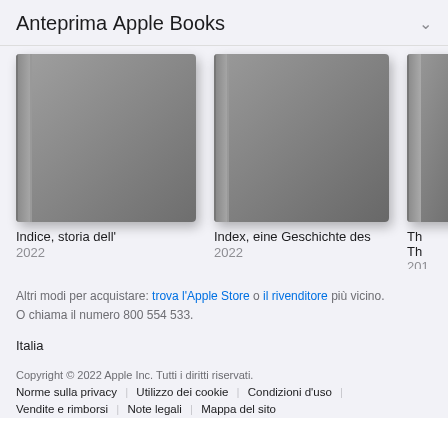Anteprima Apple Books
[Figure (illustration): Book covers shown in a horizontal scroll: 'Indice, storia dell' (2022), 'Index, eine Geschichte des' (2022), and a partially visible third book]
Indice, storia dell'
2022
Index, eine Geschichte des
2022
Th...
Th...
201...
Altri modi per acquistare: trova l'Apple Store o il rivenditore più vicino.
O chiama il numero 800 554 533.
Italia
Copyright © 2022 Apple Inc. Tutti i diritti riservati.
Norme sulla privacy | Utilizzo dei cookie | Condizioni d'uso | Vendite e rimborsi | Note legali | Mappa del sito